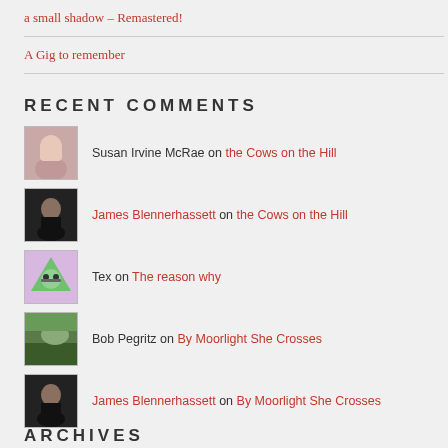a small shadow – Remastered!
A Gig to remember
RECENT COMMENTS
Susan Irvine McRae on the Cows on the Hill
James Blennerhassett on the Cows on the Hill
Tex on The reason why
Bob Pegritz on By Moorlight She Crosses
James Blennerhassett on By Moorlight She Crosses
ARCHIVES